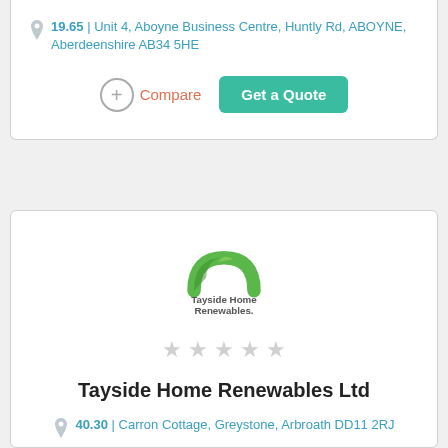19.65 | Unit 4, Aboyne Business Centre, Huntly Rd, ABOYNE, Aberdeenshire AB34 5HE
Compare
Get a Quote
[Figure (logo): Tayside Home Renewables logo with green arc/house shape and company name text]
★★★★★ (empty stars rating)
Tayside Home Renewables Ltd
40.30 | Carron Cottage, Greystone, Arbroath DD11 2RJ